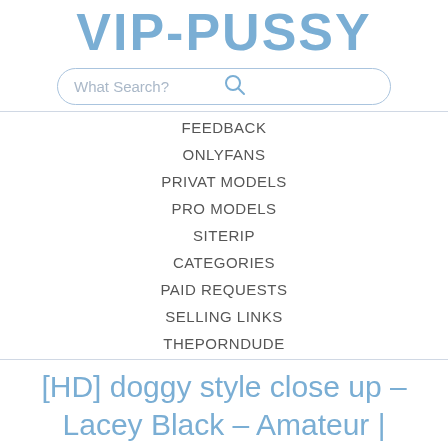VIP-PUSSY
[Figure (other): Search bar with placeholder text 'What Search?' and search icon]
FEEDBACK
ONLYFANS
PRIVAT MODELS
PRO MODELS
SITERIP
CATEGORIES
PAID REQUESTS
SELLING LINKS
THEPORNDUDE
[HD] doggy style close up – Lacey Black – Amateur | Doggystyle, Dildo Fucking